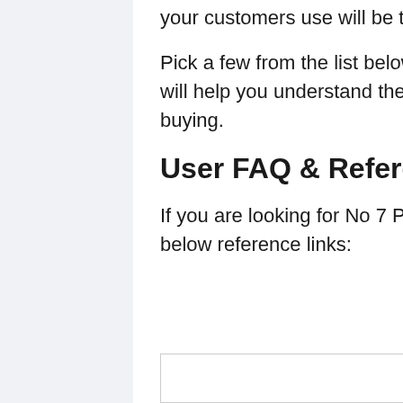your customers use will be the greatest for your business.
Pick a few from the list below and begin gathering reviews that will help you understand the No 7 Products Review before buying.
User FAQ & Reference List
If you are looking for No 7 Products Review, simply use the below reference links:
[Figure (other): Partial box with blue right border visible at the bottom of the page]